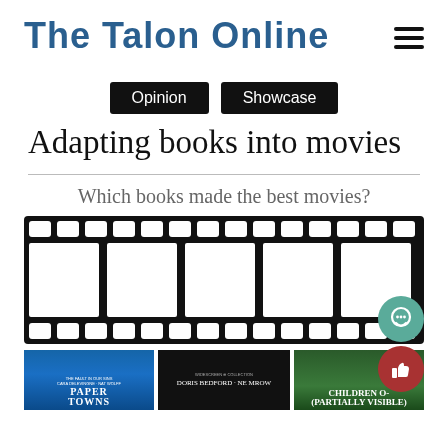The Talon Online
Opinion  Showcase
Adapting books into movies
Which books made the best movies?
[Figure (illustration): A film strip with empty white frames, representing movies adapted from books. Three book covers are partially visible at the bottom: Paper Towns (blue), a dark cover, and Children of... (green).]